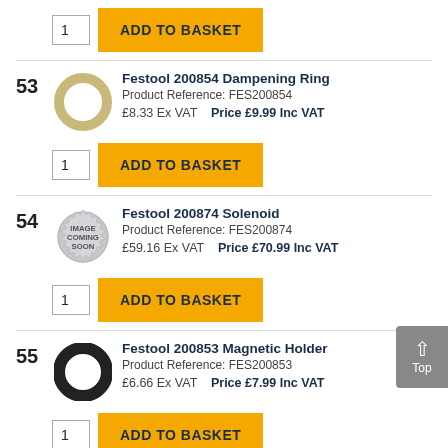[Figure (other): Add to basket UI row with quantity box showing '1' and yellow ADD TO BASKET button]
53
[Figure (photo): Festool 200854 Dampening Ring - circular ring product image]
Festool 200854 Dampening Ring
Product Reference: FES200854
£8.33 Ex VAT   Price £9.99 Inc VAT
[Figure (other): Add to basket UI row with quantity box showing '1' and yellow ADD TO BASKET button]
54
[Figure (other): Image Coming Soon badge for Festool 200874 Solenoid]
Festool 200874 Solenoid
Product Reference: FES200874
£59.16 Ex VAT   Price £70.99 Inc VAT
[Figure (other): Add to basket UI row with quantity box showing '1' and yellow ADD TO BASKET button]
55
[Figure (photo): Festool 200853 Magnetic Holder - ring/collar shaped product]
Festool 200853 Magnetic Holder
Product Reference: FES200853
£6.66 Ex VAT   Price £7.99 Inc VAT
[Figure (other): Add to basket UI row with quantity box showing '1' and yellow ADD TO BASKET button]
Festool 201004 Spring